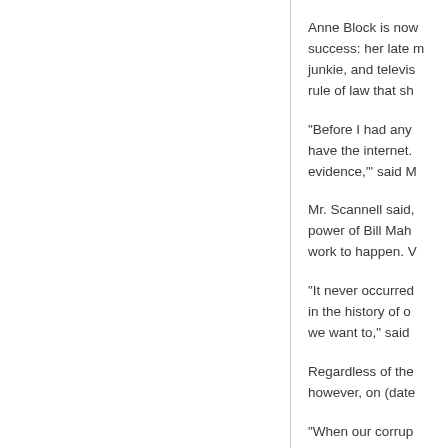Anne Block is now success: her late m junkie, and televis rule of law that sh
“Before I had any have the internet. evidence,’’ said M
Mr. Scannell said, power of Bill Mah work to happen. V
“It never occurred in the history of o we want to,” said
Regardless of the however, on (date
“When our corrup